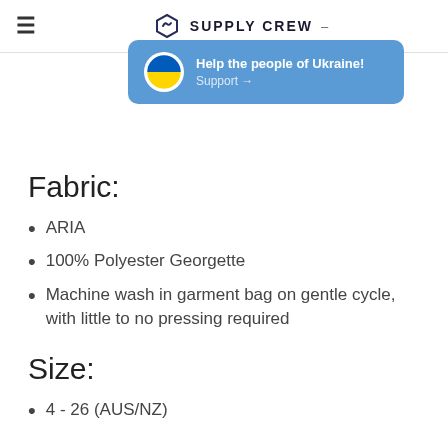≡  SUPPLY CREW –
[Figure (infographic): Blue banner with Ukrainian flag circle icon reading 'Help the people of Ukraine!' with 'Support →' link]
Fabric:
ARIA
100% Polyester Georgette
Machine wash in garment bag on gentle cycle, with little to no pressing required
Size:
4 - 26 (AUS/NZ)
Colours:
Dusty Rose, Raspberry, Purple Reign, Aqua, Black,